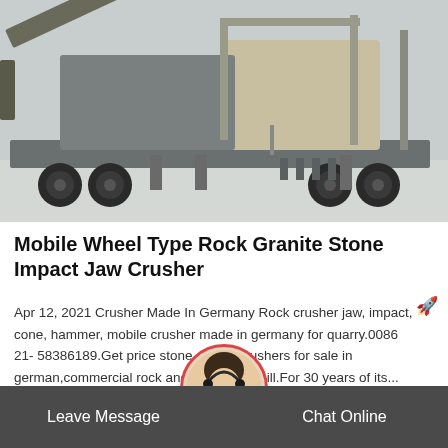[Figure (photo): Large mobile wheel-type rock/granite stone impact jaw crusher machine on a flatbed trailer, photographed in an industrial yard. Machine is grey/tan colored with visible mechanical components, conveyor belts, and large wheels.]
Mobile Wheel Type Rock Granite Stone Impact Jaw Crusher
Apr 12, 2021 Crusher Made In Germany Rock crusher jaw, impact, cone, hammer, mobile crusher made in germany for quarry.0086 21- 58386189.Get price stone quarry crushers for sale in german,commercial rock and nd mill.For 30 years of its...